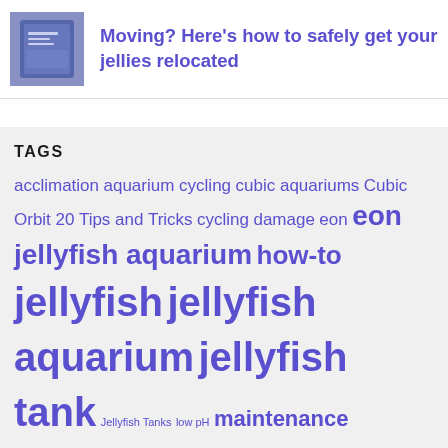[Figure (photo): Small thumbnail image showing a blue book or sign on a shelf]
Moving? Here's how to safely get your jellies relocated
TAGS
acclimation aquarium cycling cubic aquariums Cubic Orbit 20 Tips and Tricks cycling damage eon eon jellyfish aquarium how-to jellyfish jellyfish aquarium jellyfish tank Jellyfish Tanks low pH maintenance moon jellyfish nitrogen cycle pet jellyfish problem quick fix saltwater aquarium tanktiming Water Quality